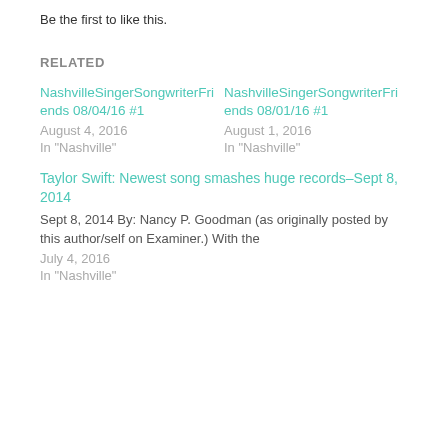Be the first to like this.
RELATED
NashvilleSingerSongwriterFriends 08/04/16 #1
August 4, 2016
In "Nashville"
NashvilleSingerSongwriterFriends 08/01/16 #1
August 1, 2016
In "Nashville"
Taylor Swift: Newest song smashes huge records–Sept 8, 2014
Sept 8, 2014 By: Nancy P. Goodman (as originally posted by this author/self on Examiner.) With the
July 4, 2016
In "Nashville"